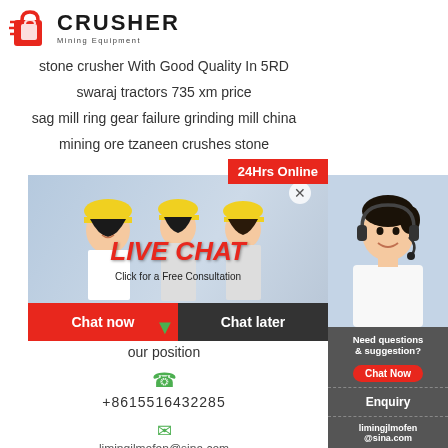[Figure (logo): Crusher Mining Equipment logo with red shopping bag icon and bold CRUSHER text]
stone crusher With Good Quality In 5RD
swaraj tractors 735 xm price
sag mill ring gear failure grinding mill china
mining ore tzaneen crushes stone
[Figure (screenshot): Live chat popup overlay with workers in background, LIVE CHAT heading, Click for a Free Consultation text, Chat now and Chat later buttons]
24Hrs Online
[Figure (photo): Customer service woman with headset on right sidebar]
Need questions & suggestion?
Chat Now
Enquiry
limingjlmofen@sina.com
our position
+8615516432285
limingjlmofen@sina.com